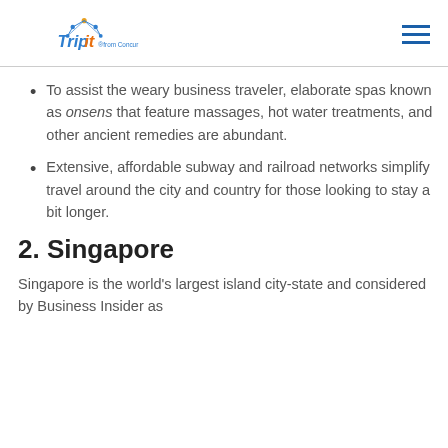TripIt from Concur
To assist the weary business traveler, elaborate spas known as onsens that feature massages, hot water treatments, and other ancient remedies are abundant.
Extensive, affordable subway and railroad networks simplify travel around the city and country for those looking to stay a bit longer.
2. Singapore
Singapore is the world’s largest island city-state and considered by Business Insider as